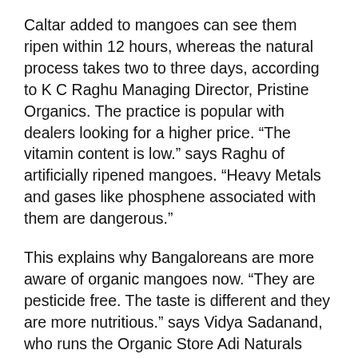Caltar added to mangoes can see them ripen within 12 hours, whereas the natural process takes two to three days, according to K C Raghu Managing Director, Pristine Organics. The practice is popular with dealers looking for a higher price. “The vitamin content is low.” says Raghu of artificially ripened mangoes. “Heavy Metals and gases like phosphene associated with them are dangerous.”
This explains why Bangaloreans are more aware of organic mangoes now. “They are pesticide free. The taste is different and they are more nutritious.” says Vidya Sadanand, who runs the Organic Store Adi Naturals (included in list) with her sister-in-law Aparna. These shops also sell other fruits, vegetables, lentils, grains etc.
In The Pink Organic Bazaar and Restaurant 93, 6th Cross, N.S. Palya, Dollars Colony, BTM Layout. 2nd